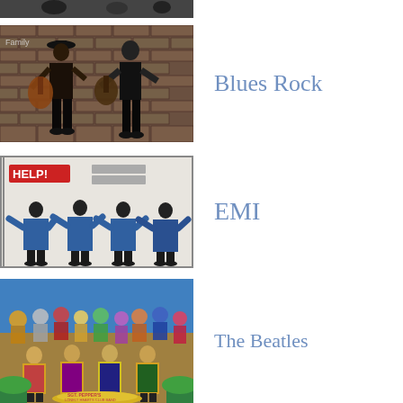[Figure (photo): Partial black and white photo at top of page, cropped]
[Figure (photo): Album/photo showing two guitarists playing in front of a brick wall, with 'Family' text visible - Blues Rock artists]
Blues Rock
[Figure (photo): Beatles HELP! album cover showing four band members in blue outfits with arms raised, bordered with thin lines]
EMI
[Figure (photo): Beatles Sgt. Pepper's Lonely Hearts Club Band album cover showing colorful crowd of figures]
The Beatles